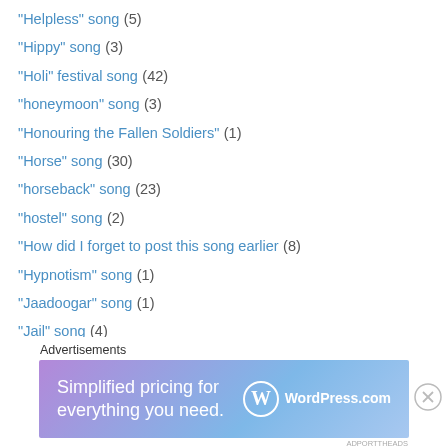"Helpless" song (5)
"Hippy" song (3)
"Holi" festival song (42)
"honeymoon" song (3)
"Honouring the Fallen Soldiers" (1)
"Horse" song (30)
"horseback" song (23)
"hostel" song (2)
"How did I forget to post this song earlier (8)
"Hypnotism" song (1)
"Jaadoogar" song (1)
"Jail" song (4)
"Jaimala" song (1)
"Jamuna" song (1)
"Jawaani" song (3)
"Jeep" song (29)
[Figure (screenshot): WordPress.com advertisement banner with text 'Simplified pricing for everything you need.' and WordPress.com logo]